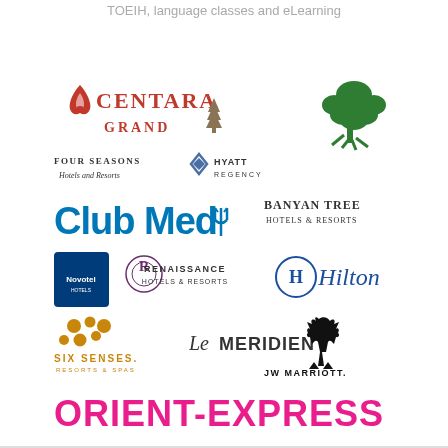TOEIH, language classes and eLearning
[Figure (logo): Collection of hotel brand logos: Centara Grand, Banyan Tree Hotels & Resorts (tree icon), Four Seasons Hotels and Resorts, Hyatt Regency, Club Med, Banyan Tree Hotels & Resorts (text), Novotel, Renaissance Hotels & Resorts, Hilton, Six Senses Resorts & Spas, Le Meridien, JW Marriott, Orient-Express]